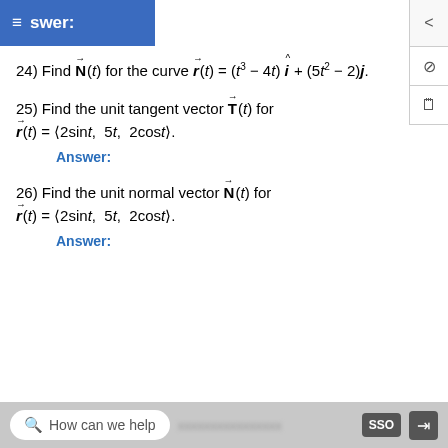≡ swer:
24) Find N(t) for the curve r(t) = (t³ − 4t)î + (5t² − 2)j.
25) Find the unit tangent vector T(t) for
r(t) = ⟨2sint, 5t, 2cost⟩.
Answer:
26) Find the unit normal vector N(t) for
r(t) = ⟨2sint, 5t, 2cost⟩.
Answer:
How can we help    SSD